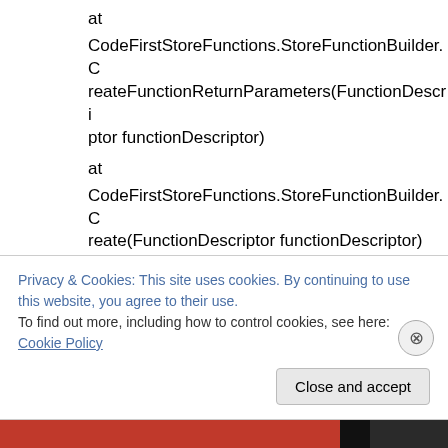at
CodeFirstStoreFunctions.StoreFunctionBuilder.CreateFunctionReturnParameters(FunctionDescriptor functionDescriptor)
at
CodeFirstStoreFunctions.StoreFunctionBuilder.Create(FunctionDescriptor functionDescriptor)
at
CodeFirstStoreFunctions.FunctionsConvention.Apply(EntityContainer item, DbModel model)
at
Privacy & Cookies: This site uses cookies. By continuing to use this website, you agree to their use.
To find out more, including how to control cookies, see here: Cookie Policy